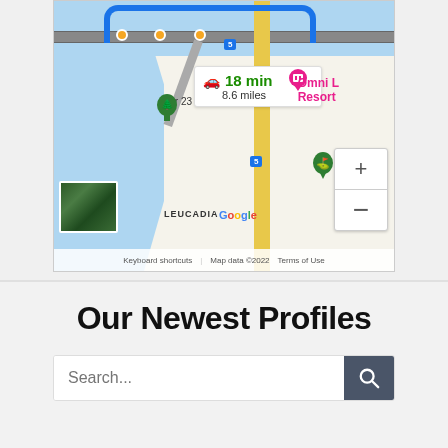[Figure (screenshot): Google Maps screenshot showing a route with 18 min / 8.6 miles driving directions near Leucadia, CA. Features I-5 highway, Omni La Costa Resort, Encinitas Golf Course, Tower 23 markers, zoom controls, satellite thumbnail, Google logo, and map attribution footer.]
Our Newest Profiles
Search...